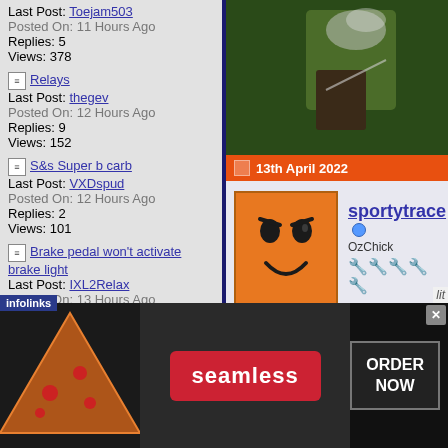Last Post: Toejam503
Posted On: 11 Hours Ago
Replies: 5
Views: 378
Relays
Last Post: thegev
Posted On: 12 Hours Ago
Replies: 9
Views: 152
S&s Super b carb
Last Post: VXDspud
Posted On: 12 Hours Ago
Replies: 2
Views: 101
Brake pedal won't activate brake light
Last Post: IXL2Relax
Posted On: 13 Hours Ago
Replies: 17
Views: 357
Would you ever buy an Electric Motorcycle?
Last Post: Folkie
Posted On: 13 Hours Ago
Replies: 67
[Figure (photo): Close-up photo of what appears to be a motorcycle spraying liquid or smoke, green background]
13th April 2022
[Figure (illustration): Orange square avatar with a smirking/winking smiley face emoji]
sportytrace (online indicator)
OzChick
wrench icons (rank)
[Figure (screenshot): Advertisement banner: seamless food ordering with ORDER NOW button, pizza image on left]
infolinks
lit